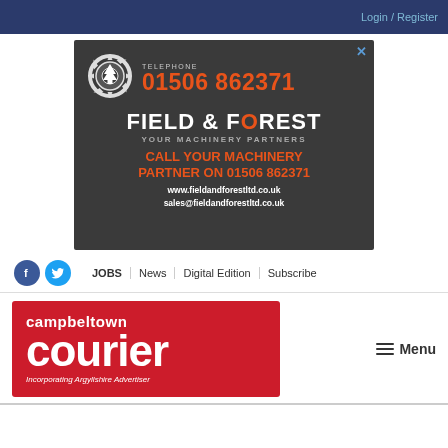Login / Register
[Figure (infographic): Field & Forest advertisement: gear logo, telephone 01506 862371, 'FIELD & FOREST YOUR MACHINERY PARTNERS', 'CALL YOUR MACHINERY PARTNER ON 01506 862371', www.fieldandforestltd.co.uk, sales@fieldandforestltd.co.uk on a dark grey background]
JOBS | News | Digital Edition | Subscribe
[Figure (logo): Campbeltown Courier logo on red background with tagline 'Incorporating Argyllshire Advertiser']
Menu